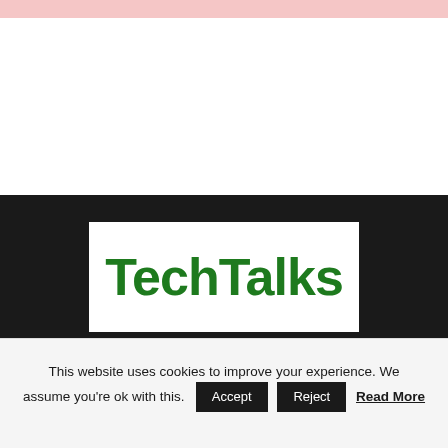[Figure (logo): TechTalks logo — bold green text 'TechTalks' on white rectangular background, displayed on dark background section]
ABOUT US
At TechTalks, we examine trends in technology, how they affect the way we live and do business,
This website uses cookies to improve your experience. We assume you're ok with this. Accept Reject Read More